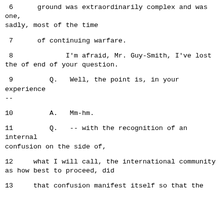6      ground was extraordinarily complex and was one, sadly, most of the time
7      of continuing warfare.
8             I'm afraid, Mr. Guy-Smith, I've lost the of end of your question.
9         Q.   Well, the point is, in your experience --
10        A.   Mm-hm.
11        Q.   -- with the recognition of an internal confusion on the side of,
12     what I will call, the international community as how best to proceed, did
13     that confusion manifest itself so that the